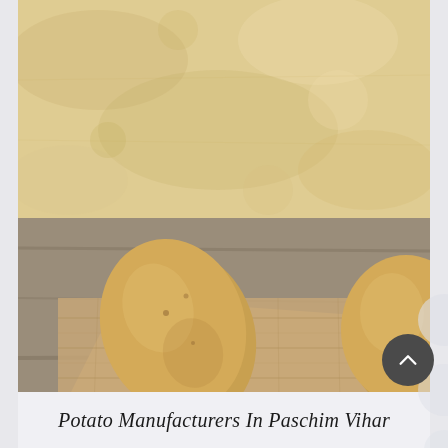[Figure (photo): Top parchment/paper textured background area in beige and tan tones]
[Figure (photo): Photograph of fresh potatoes in a burlap sack on a wooden surface with a green parsley leaf beside them. Multiple yellow-brown potatoes are visible both inside and outside the small cloth bag.]
Potato Manufacturers In Paschim Vihar